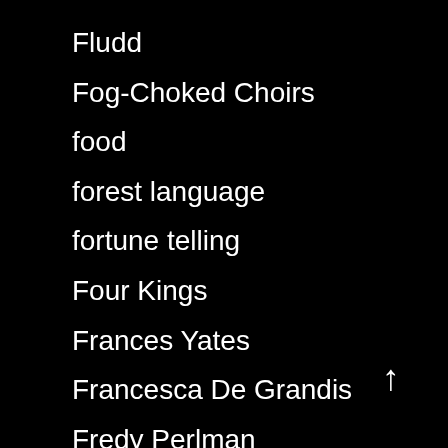Fludd
Fog-Choked Choirs
food
forest language
fortune telling
Four Kings
Frances Yates
Francesca De Grandis
Fredy Perlman
free will
freedom
Freud